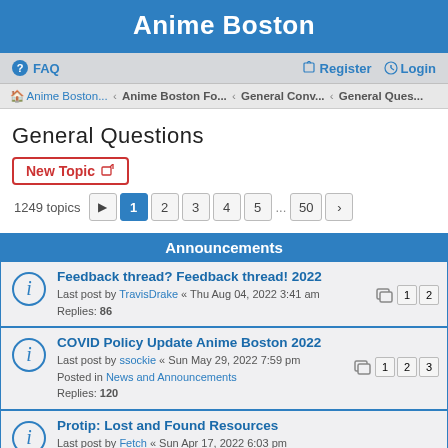Anime Boston
FAQ   Register   Login
Anime Boston... › Anime Boston Fo... › General Conv... › General Ques...
General Questions
New Topic
1249 topics  1 2 3 4 5 ... 50
Announcements
Feedback thread? Feedback thread! 2022
Last post by TravisDrake « Thu Aug 04, 2022 3:41 am
Replies: 86
Pages: 1 2
COVID Policy Update Anime Boston 2022
Last post by ssockie « Sun May 29, 2022 7:59 pm
Posted in News and Announcements
Replies: 120
Pages: 1 2 3
Protip: Lost and Found Resources
Last post by Fetch « Sun Apr 17, 2022 6:03 pm
Replies: 2
Please don't answer questions for staff
Last post by Faceman « Fri Feb 24, 2012 10:44 am